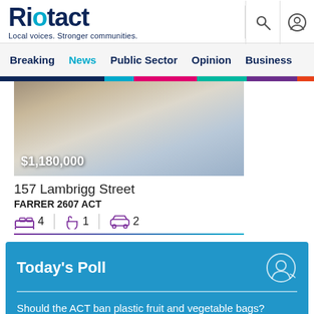Riotact - Local voices. Stronger communities.
Breaking  News  Public Sector  Opinion  Business
[Figure (photo): Interior photo of a living room with sofas and a rug, with price overlay $1,180,000]
157 Lambrigg Street
FARRER 2607 ACT
4 bedrooms | 1 bathroom | 2 garage
Today's Poll
Should the ACT ban plastic fruit and vegetable bags?
Yes, act now and people will come along